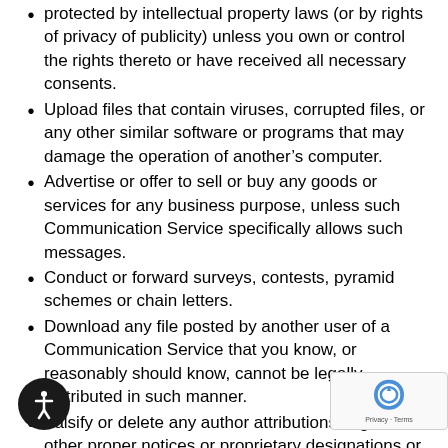protected by intellectual property laws (or by rights of privacy of publicity) unless you own or control the rights thereto or have received all necessary consents.
Upload files that contain viruses, corrupted files, or any other similar software or programs that may damage the operation of another’s computer.
Advertise or offer to sell or buy any goods or services for any business purpose, unless such Communication Service specifically allows such messages.
Conduct or forward surveys, contests, pyramid schemes or chain letters.
Download any file posted by another user of a Communication Service that you know, or reasonably should know, cannot be legally distributed in such manner.
Falsify or delete any author attributions, legal or other proper notices or proprietary designations or labels of the origin or source of software or other material contained in a file that is uploaded.
Restrict or inhibit any other user from using and